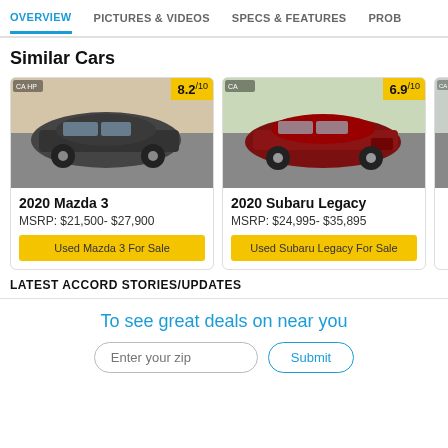OVERVIEW | PICTURES & VIDEOS | SPECS & FEATURES | PROB
Similar Cars
[Figure (photo): 2020 Mazda 3 car photo with rating badge 8.2/10]
2020 Mazda 3
MSRP: $21,500- $27,900
Used Mazda 3 For Sale
[Figure (photo): 2020 Subaru Legacy car photo with rating badge 6.9/10]
2020 Subaru Legacy
MSRP: $24,995- $35,895
Used Subaru Legacy For Sale
LATEST ACCORD STORIES/UPDATES
To see great deals on near you
Enter your zip | Submit